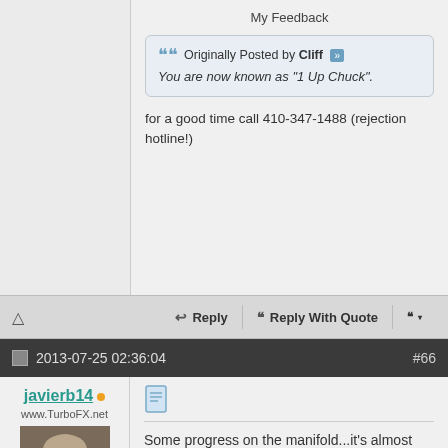My Feedback
Originally Posted by Cliff » You are now known as "1 Up Chuck".
for a good time call 410-347-1488 (rejection hotline!)
Reply | Reply With Quote
2013-07-25 02:36:04   #66
javierb14
www.TurboFX.net
| Join Date: | 2008-01-15 |
| Location: | Tempe, AZ |
| Posts: | 556 |
Some progress on the manifold...it's almost done, just waiting on a 1/2 in. thick head flange to be machined/delivered.

Final runner design...